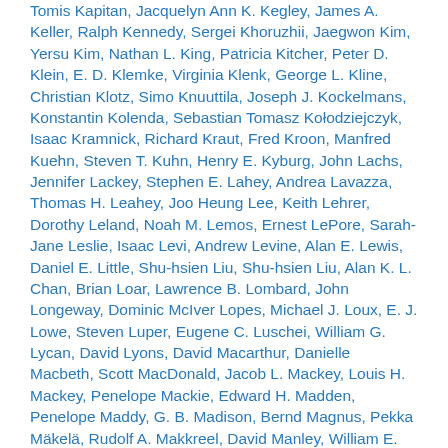Tomis Kapitan, Jacquelyn Ann K. Kegley, James A. Keller, Ralph Kennedy, Sergei Khoruzhii, Jaegwon Kim, Yersu Kim, Nathan L. King, Patricia Kitcher, Peter D. Klein, E. D. Klemke, Virginia Klenk, George L. Kline, Christian Klotz, Simo Knuuttila, Joseph J. Kockelmans, Konstantin Kolenda, Sebastian Tomasz Kołodziejczyk, Isaac Kramnick, Richard Kraut, Fred Kroon, Manfred Kuehn, Steven T. Kuhn, Henry E. Kyburg, John Lachs, Jennifer Lackey, Stephen E. Lahey, Andrea Lavazza, Thomas H. Leahey, Joo Heung Lee, Keith Lehrer, Dorothy Leland, Noah M. Lemos, Ernest LePore, Sarah-Jane Leslie, Isaac Levi, Andrew Levine, Alan E. Lewis, Daniel E. Little, Shu-hsien Liu, Shu-hsien Liu, Alan K. L. Chan, Brian Loar, Lawrence B. Lombard, John Longeway, Dominic McIver Lopes, Michael J. Loux, E. J. Lowe, Steven Luper, Eugene C. Luschei, William G. Lycan, David Lyons, David Macarthur, Danielle Macbeth, Scott MacDonald, Jacob L. Mackey, Louis H. Mackey, Penelope Mackie, Edward H. Madden, Penelope Maddy, G. B. Madison, Bernd Magnus, Pekka Mäkelä, Rudolf A. Makkreel, David Manley, William E. Mann (W.E.M.), Vladimir Marchenkov, Peter Markie, Jean-Pierre Marquis, Ausonio Marras, Mike W. Martin, A. P.